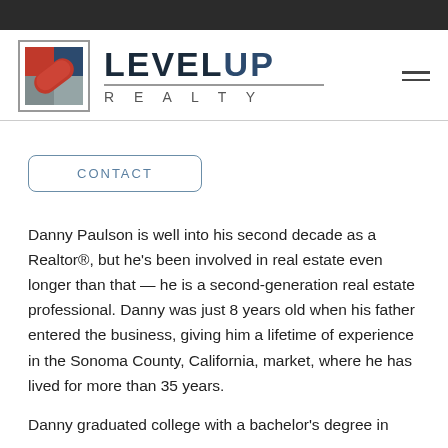[Figure (logo): LevelUp Realty logo with geometric icon and text]
CONTACT
Danny Paulson is well into his second decade as a Realtor®, but he's been involved in real estate even longer than that — he is a second-generation real estate professional. Danny was just 8 years old when his father entered the business, giving him a lifetime of experience in the Sonoma County, California, market, where he has lived for more than 35 years.
Danny graduated college with a bachelor's degree in